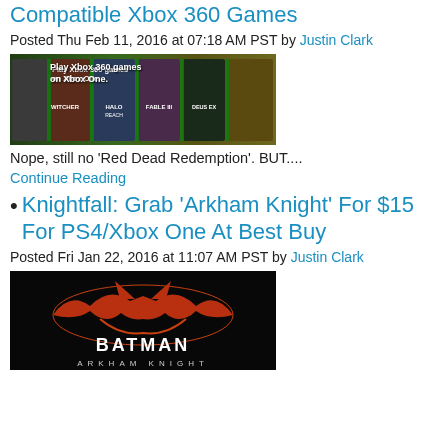Compatible Xbox 360 Games
Posted Thu Feb 11, 2016 at 07:18 AM PST by Justin Clark
[Figure (photo): Xbox 360 backward compatibility promotional image showing game covers including The Witcher, Halo Reach, Fable III, Deus Ex with text 'Play Xbox 360 games on Xbox One.']
Nope, still no 'Red Dead Redemption'. BUT....
Continue Reading
Knightfall: Grab 'Arkham Knight' For $15 For PS4/Xbox One At Best Buy
Posted Fri Jan 22, 2016 at 11:07 AM PST by Justin Clark
[Figure (photo): Batman Arkham Knight logo on black background with orange bat symbol and text BATMAN ARKHAM KNIGHT]